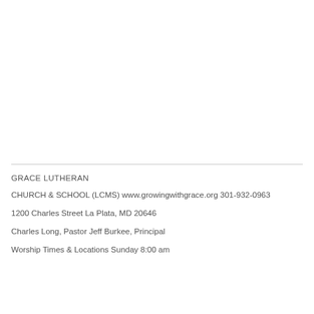GRACE LUTHERAN
CHURCH & SCHOOL (LCMS) www.growingwithgrace.org 301-932-0963
1200 Charles Street La Plata, MD 20646
Charles Long, Pastor Jeff Burkee, Principal
Worship Times & Locations Sunday 8:00 am